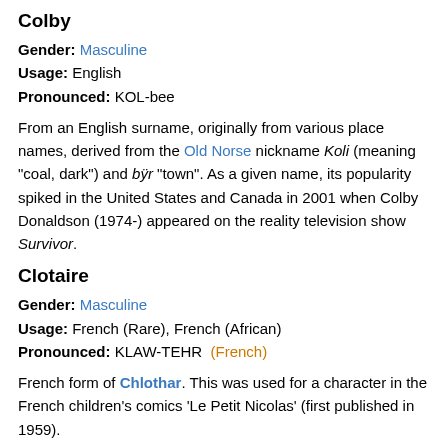Colby
Gender: Masculine
Usage: English
Pronounced: KOL-bee
From an English surname, originally from various place names, derived from the Old Norse nickname Koli (meaning "coal, dark") and bÿr "town". As a given name, its popularity spiked in the United States and Canada in 2001 when Colby Donaldson (1974-) appeared on the reality television show Survivor.
Clotaire
Gender: Masculine
Usage: French (Rare), French (African)
Pronounced: KLAW-TEHR (French)
French form of Chlothar. This was used for a character in the French children's comics 'Le Petit Nicolas' (first published in 1959).
Cloelia
Gender: Feminine